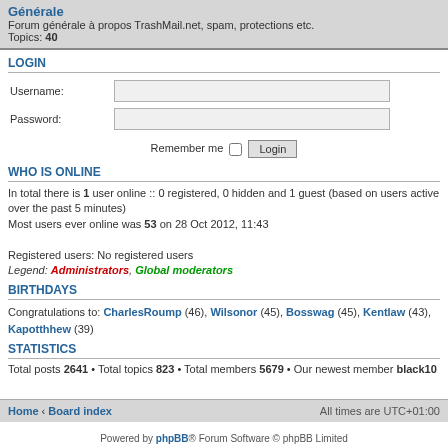Générale
Forum générale à propos TrashMail.net, spam, protections etc.
Topics: 40
LOGIN
Username:
Password:
Remember me [checkbox] Login
WHO IS ONLINE
In total there is 1 user online :: 0 registered, 0 hidden and 1 guest (based on users active over the past 5 minutes)
Most users ever online was 53 on 28 Oct 2012, 11:43

Registered users: No registered users
Legend: Administrators, Global moderators
BIRTHDAYS
Congratulations to: CharlesRoump (46), Wilsonor (45), Bosswag (45), Kentlaw (43), Kapotthhew (39)
STATISTICS
Total posts 2641 • Total topics 823 • Total members 5679 • Our newest member black10
Home · Board index    All times are UTC+01:00
Powered by phpBB® Forum Software © phpBB Limited